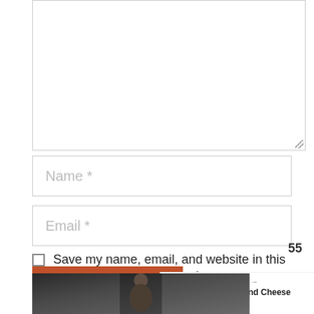[Figure (screenshot): Comment form textarea (empty, resizable) at the top of the page]
Name *
Email *
Save my name, email, and website in this browser for the next time I comment.
Post Comment
[Figure (infographic): Heart icon button (teal circle) with count 55 and share icon below]
[Figure (infographic): WHAT'S NEXT arrow label with thumbnail and text: Fried Mac and Cheese Bites]
[Figure (photo): Partial photo of a person at the bottom of the page]